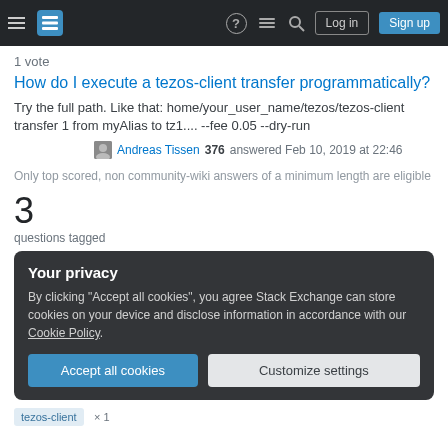Stack Exchange navigation bar with Log in and Sign up buttons
1 vote
How do I execute a tezos-client transfer programmatically?
Try the full path. Like that: home/your_user_name/tezos/tezos-client transfer 1 from myAlias to tz1.... --fee 0.05 --dry-run
Andreas Tissen 376 answered Feb 10, 2019 at 22:46
Only top scored, non community-wiki answers of a minimum length are eligible
3
questions tagged
Your privacy
By clicking "Accept all cookies", you agree Stack Exchange can store cookies on your device and disclose information in accordance with our Cookie Policy.
Accept all cookies
Customize settings
tezos-client × 1